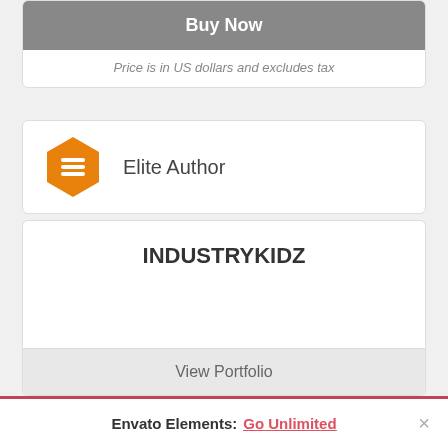Buy Now
Price is in US dollars and excludes tax
Elite Author
INDUSTRYKIDZ
View Portfolio
Envato Elements: Go Unlimited ×